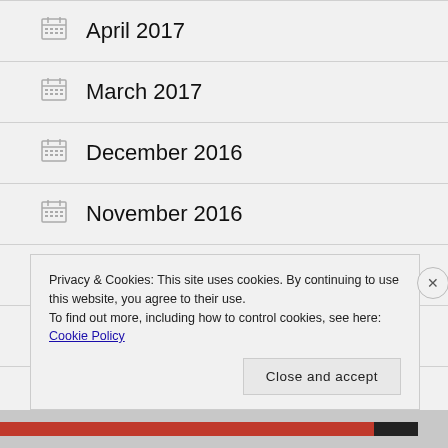April 2017
March 2017
December 2016
November 2016
September 2016
August 2016
Privacy & Cookies: This site uses cookies. By continuing to use this website, you agree to their use.
To find out more, including how to control cookies, see here: Cookie Policy
Close and accept